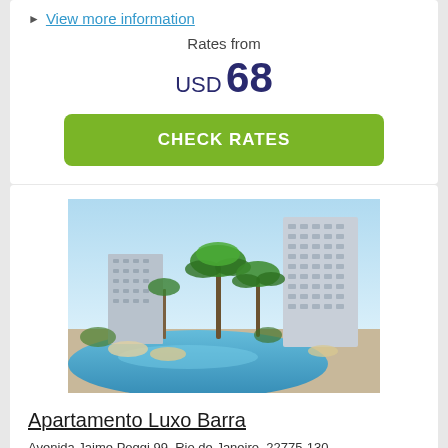View more information
Rates from
USD 68
CHECK RATES
[Figure (photo): Exterior photo of Apartamento Luxo Barra hotel with a large swimming pool in the foreground, palm trees, and a tall modern high-rise building in the background under a clear blue sky.]
Apartamento Luxo Barra
Avenida Jaime Poggi 99, Rio de Janeiro, 22775-130
"Wonderful".  9/10  from 0 reviews